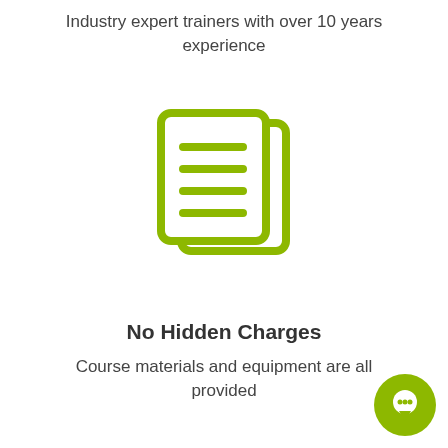Industry expert trainers with over 10 years experience
[Figure (illustration): Green icon of two overlapping document pages with horizontal lines representing text]
No Hidden Charges
Course materials and equipment are all provided
[Figure (illustration): Green icon of a document with a magnifying glass]
[Figure (illustration): Green chat bubble button in bottom right corner]